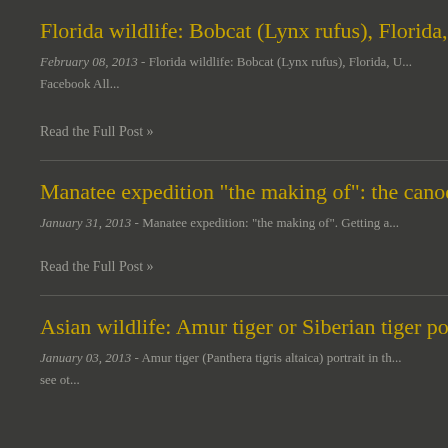Florida wildlife: Bobcat (Lynx rufus), Florida, U...
February 08, 2013 - Florida wildlife: Bobcat (Lynx rufus), Florida, U... Facebook All...
Read the Full Post »
Manatee expedition "the making of": the canoe...
January 31, 2013 - Manatee expedition: "the making of". Getting a...
Read the Full Post »
Asian wildlife: Amur tiger or Siberian tiger portr...
January 03, 2013 - Amur tiger (Panthera tigris altaica) portrait in th... see ot...